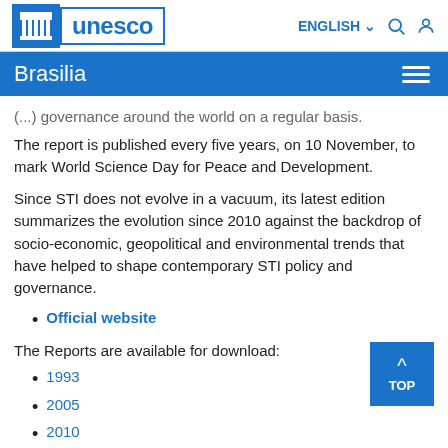UNESCO | Brasilia | ENGLISH
(...) governance around the world on a regular basis. The report is published every five years, on 10 November, to mark World Science Day for Peace and Development.
Since STI does not evolve in a vacuum, its latest edition summarizes the evolution since 2010 against the backdrop of socio-economic, geopolitical and environmental trends that have helped to shape contemporary STI policy and governance.
Official website
The Reports are available for download:
1993
2005
2010
2015 (partially visible)